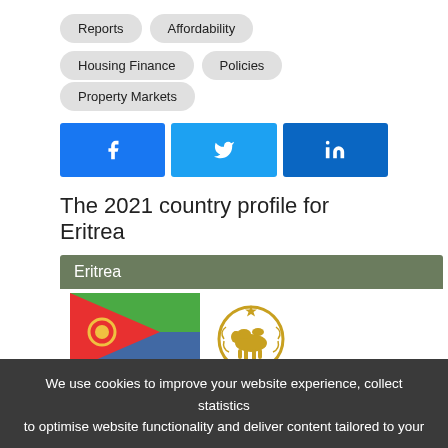Reports
Affordability
Housing Finance
Policies
Property Markets
[Figure (infographic): Social share buttons: Facebook (blue), Twitter (light blue), LinkedIn (dark blue)]
The 2021 country profile for Eritrea
[Figure (infographic): Eritrea country card showing the header bar with 'Eritrea' text on olive green background, the Eritrean flag (red triangle, green and blue sections with yellow wreath emblem), and the national emblem (camel with wreath)]
[Figure (map): Map of Eritrea showing regional divisions with place name labels]
We use cookies to improve your website experience, collect statistics to optimise website functionality and deliver content tailored to your